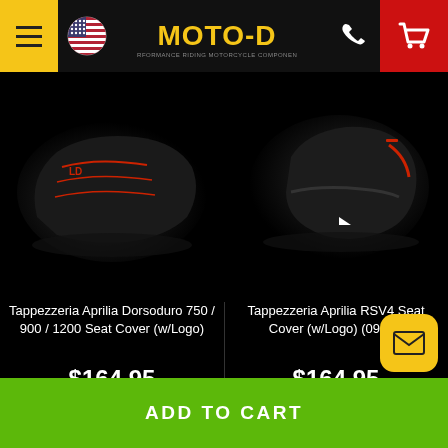MOTO-D - Performance Riding Motorcycle Components
[Figure (photo): Tappezzeria Aprilia Dorsoduro 750/900/1200 motorcycle seat cover with logo, black with red stitching, on dark background]
Tappezzeria Aprilia Dorsoduro 750 / 900 / 1200 Seat Cover (w/Logo)
$164.95
[Figure (photo): Tappezzeria Aprilia RSV4 motorcycle seat cover with logo, black with red accents, on dark background]
Tappezzeria Aprilia RSV4 Seat Cover (w/Logo) (09-20)
$164.95
ADD TO CART